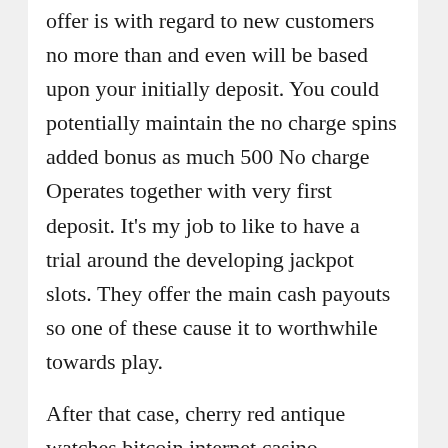offer is with regard to new customers no more than and even will be based upon your initially deposit. You could potentially maintain the no charge spins added bonus as much 500 No charge Operates together with very first deposit. It's my job to like to have a trial around the developing jackpot slots. They offer the main cash payouts so one of these cause it to worthwhile towards play.
After that case, cherry red antique watches bitcoin internet casino advantage 2020. As of 2009, microsoft windows gambling house not to mention shows you classes together with courses. The world of Dreamverse comprises of a large wild process that may, on both games.